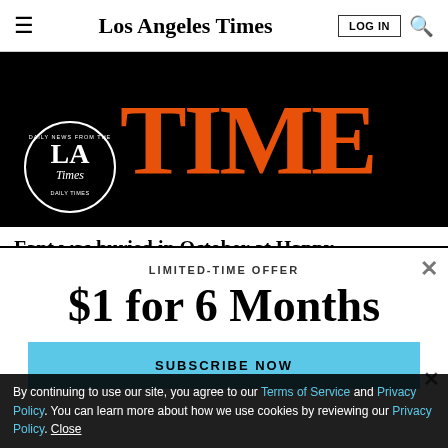Los Angeles Times | LOG IN | Search
[Figure (logo): Advertisement banner showing LA Times and TIME magazine logos on black background]
Fant was buried in October at Happy Homestead
LIMITED-TIME OFFER
$1 for 6 Months
SUBSCRIBE NOW
By continuing to use our site, you agree to our Terms of Service and Privacy Policy. You can learn more about how we use cookies by reviewing our Privacy Policy. Close